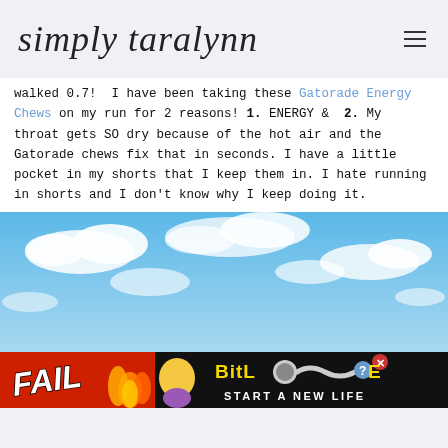simply taralynn
walked 0.7!  I have been taking these Gatorade Energy Chews on my run for 2 reasons! 1. ENERGY &  2. My throat gets SO dry because of the hot air and the Gatorade chews fix that in seconds. I have a little pocket in my shorts that I keep them in. I hate running in shorts and I don't know why I keep doing it.
[Figure (photo): Blue sky with white clouds]
[Figure (infographic): BitLife advertisement banner with FAIL text, cartoon character, flames, and 'START A NEW LIFE' tagline]